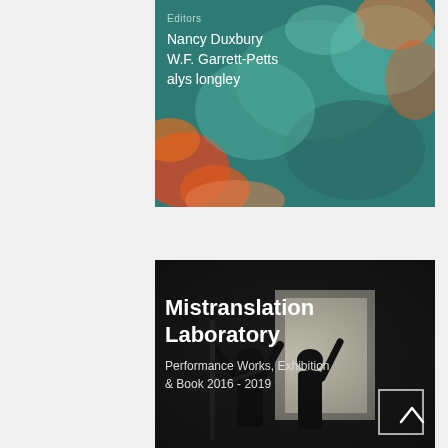[Figure (photo): Book cover with abstract teal, orange and green painting background showing editors: Nancy Duxbury, W.F. Garrett-Petts, alys longley]
Editors
Nancy Duxbury
W.F. Garrett-Petts
alys longley
[Figure (photo): Black and white photo of people silhouetted against a bright window with raised arms, overlaid with text for Mistranslation Laboratory]
Mistranslation Laboratory
Performance Works, Exhibition & Book 2016 - 2019